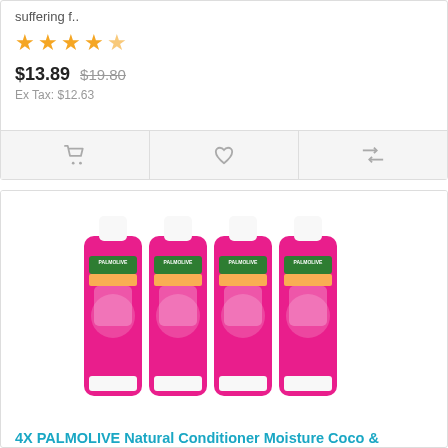suffering f..
[Figure (other): 4.5 star rating shown with gold stars]
$13.89  $19.80
Ex Tax: $12.63
[Figure (other): Action bar with cart, wishlist, and compare icons]
[Figure (photo): Four pink Palmolive Natural Conditioner Moisture Coco & Protein 350mL tubes arranged side by side]
4X PALMOLIVE Natural Conditioner Moisture Coco & Protein 350mL
Enjoy top-rated shampoo and conditioner for frizzy hair. Palmolive